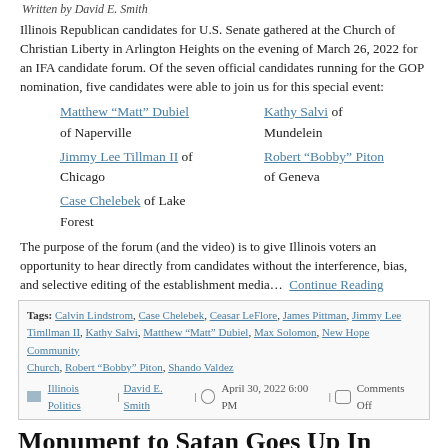Written by David E. Smith
Illinois Republican candidates for U.S. Senate gathered at the Church of Christian Liberty in Arlington Heights on the evening of March 26, 2022 for an IFA candidate forum. Of the seven official candidates running for the GOP nomination, five candidates were able to join us for this special event:
Matthew “Matt” Dubiel of Naperville
Kathy Salvi of Mundelein
Jimmy Lee Tillman II of Chicago
Robert “Bobby” Piton of Geneva
Case Chelebek of Lake Forest
The purpose of the forum (and the video) is to give Illinois voters an opportunity to hear directly from candidates without the interference, bias, and selective editing of the establishment media…. Continue Reading
Tags: Calvin Lindstrom, Case Chelebek, Ceasar LeFlore, James Pittman, Jimmy Lee Timllman II, Kathy Salvi, Matthew “Matt” Dubiel, Max Solomon, New Hope Community Church, Robert “Bobby” Piton, Shando Valdez | Illinois Politics | David E. Smith | April 30, 2022 6:00 PM | Comments Off
Monument to Satan Goes Up In